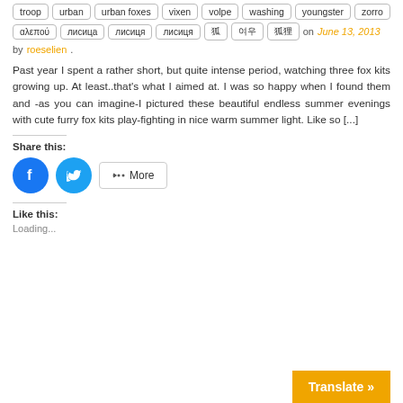troop  urban  urban foxes  vixen  volpe  washing  youngster  zorro
αλεπού  лисица  лисиця  [CJK chars]  on June 13, 2013 by roeselien.
Past year I spent a rather short, but quite intense period, watching three fox kits growing up. At least..that's what I aimed at. I was so happy when I found them and -as you can imagine-I pictured these beautiful endless summer evenings with cute furry fox kits play-fighting in nice warm summer light. Like so [...]
Share this:
Facebook Twitter More
Like this:
Loading...
Translate »